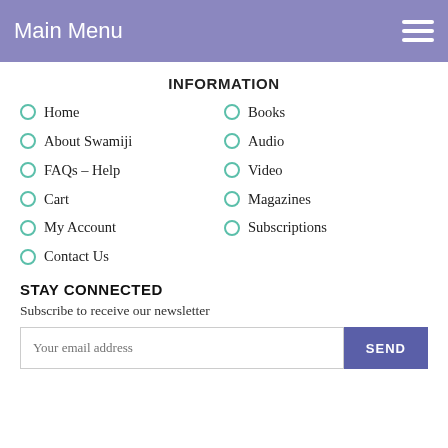Main Menu
INFORMATION
Home
Books
About Swamiji
Audio
FAQs – Help
Video
Cart
Magazines
My Account
Subscriptions
Contact Us
STAY CONNECTED
Subscribe to receive our newsletter